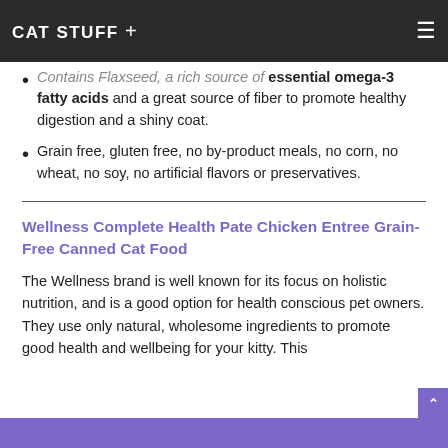CAT STUFF +
Contains Flaxseed, a rich source of essential omega-3 fatty acids and a great source of fiber to promote healthy digestion and a shiny coat.
Grain free, gluten free, no by-product meals, no corn, no wheat, no soy, no artificial flavors or preservatives.
Wellness Complete Health Pate Chicken Entree Grain-Free Canned Cat Food
The Wellness brand is well known for its focus on holistic nutrition, and is a good option for health conscious pet owners. They use only natural, wholesome ingredients to promote good health and wellbeing for your kitty. This